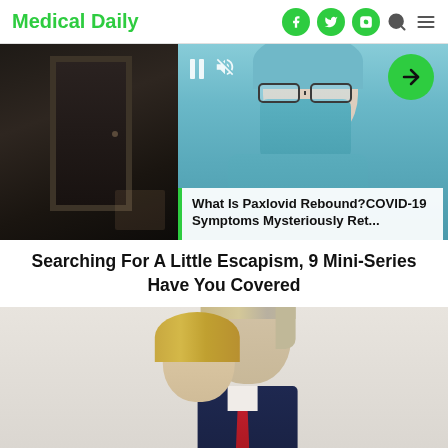Medical Daily
[Figure (screenshot): Medical Daily website screenshot showing header with logo and social media icons, two overlapping images (dark door photo on left, nurse with mask on right), video controls, and article caption overlay reading 'What Is Paxlovid Rebound?COVID-19 Symptoms Mysteriously Ret...']
Searching For A Little Escapism, 9 Mini-Series Have You Covered
[Figure (photo): Photo of two people close together, one appearing to be a man in a suit with grey hair, the other a woman with blonde hair, light background]